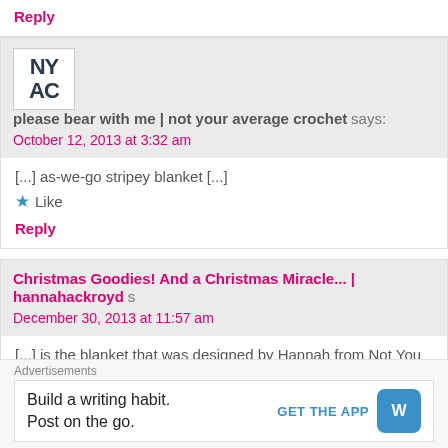Reply
please bear with me | not your average crochet says:
October 12, 2013 at 3:32 am
[...] as-we-go stripey blanket [...]
★ Like
Reply
Christmas Goodies! And a Christmas Miracle... | hannahackroyd s
December 30, 2013 at 11:57 am
[...] is the blanket that was designed by Hannah from Not You
little behind after going on holiday then coming home ill
Advertisements
Build a writing habit.
Post on the go.
GET THE APP